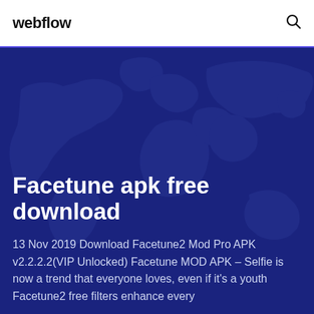webflow
[Figure (illustration): World map silhouette on dark blue background used as hero banner background]
Facetune apk free download
13 Nov 2019 Download Facetune2 Mod Pro APK v2.2.2.2(VIP Unlocked) Facetune MOD APK – Selfie is now a trend that everyone loves, even if it's a youth Facetune2 free filters enhance every